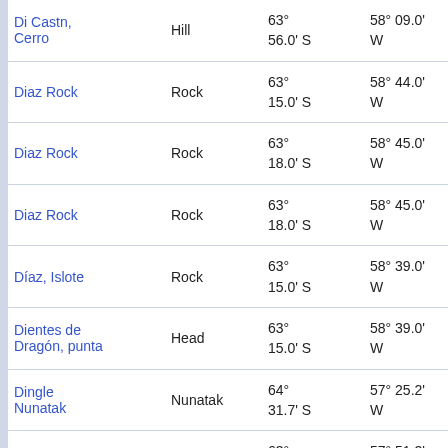| Name | Type | Latitude | Longitude | Extra |
| --- | --- | --- | --- | --- |
| Di Castn, Cerro | Hill | 63° 56.0' S | 58° 09.0' W | 18.4 at 13 |
| Diaz Rock | Rock | 63° 15.0' S | 58° 44.0' W | 64.9 at 34 |
| Diaz Rock | Rock | 63° 18.0' S | 58° 45.0' W | 59.8 at 34 |
| Diaz Rock | Rock | 63° 18.0' S | 58° 45.0' W | 59.8 at 34 |
| Díaz, Islote | Rock | 63° 15.0' S | 58° 39.0' W | 64.1 at 34 |
| Dientes de Dragón, punta | Head | 63° 15.0' S | 58° 39.0' W | 64.1 at 34 |
| Dingle Nunatak | Nunatak | 64° 31.7' S | 57° 25.2' W | 92.7 at 14 |
| Dinn Cliffs | Cliff | 63° 57.9' S | 57° 51.2' W | 32.1 at 12 |